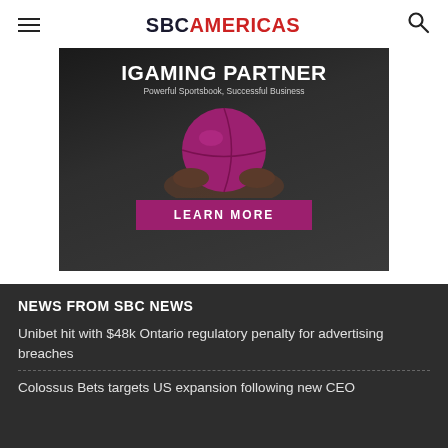SBC AMERICAS
[Figure (illustration): iGaming Partner advertisement banner showing a person holding a pink/magenta basketball, with text 'IGAMING PARTNER', 'Powerful Sportsbook, Successful Business', and a 'LEARN MORE' button]
NEWS FROM SBC NEWS
Unibet hit with $48k Ontario regulatory penalty for advertising breaches
Colossus Bets targets US expansion following new CEO